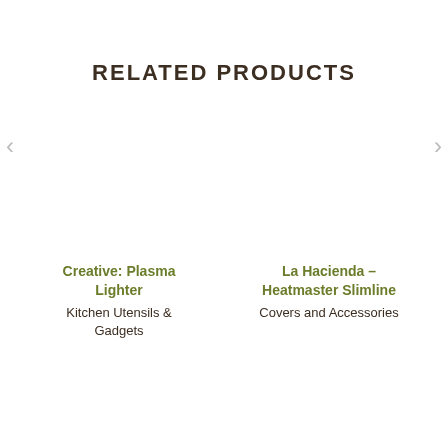RELATED PRODUCTS
[Figure (other): Product image placeholder for Creative: Plasma Lighter]
[Figure (other): Product image placeholder for La Hacienda – Heatmaster Slimline]
Creative: Plasma Lighter
Kitchen Utensils & Gadgets
La Hacienda – Heatmaster Slimline
Covers and Accessories